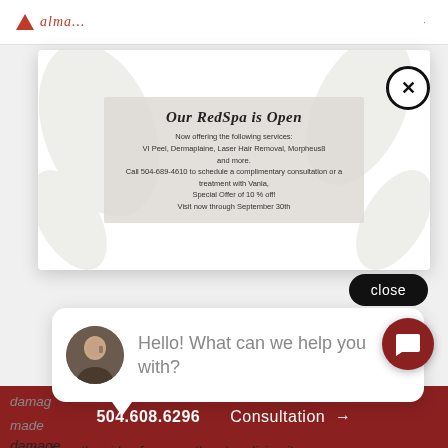alma (logo)
[Figure (screenshot): Ad modal for RedSpa with close button (X circle). Content: 'Our RedSpa is Open' with services listed including VI Peel, Dermaplaine, Laser Hair Removal, Morpheus8 and more. Call 504-689-4610, special offer 10% off, visit now through September 30th.]
close
[Figure (screenshot): Chat widget popup with avatar of a woman on phone and text: 'Hello! What can we help you with?']
Hello! What can we help you with?
damage
made
spoke from the side of my mouth not realizing it.
While speaking to Dr.Cynthia Mizgala she noticed
asked me if it bothered me and said I can fix it.
504.608.6296  Consultation →